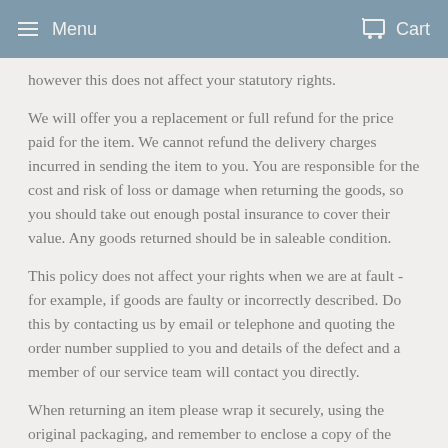Menu  Cart
however this does not affect your statutory rights.
We will offer you a replacement or full refund for the price paid for the item. We cannot refund the delivery charges incurred in sending the item to you. You are responsible for the cost and risk of loss or damage when returning the goods, so you should take out enough postal insurance to cover their value. Any goods returned should be in saleable condition.
This policy does not affect your rights when we are at fault - for example, if goods are faulty or incorrectly described. Do this by contacting us by email or telephone and quoting the order number supplied to you and details of the defect and a member of our service team will contact you directly.
When returning an item please wrap it securely, using the original packaging, and remember to enclose a copy of the delivery note.
None of the above affects your statutory rights and the